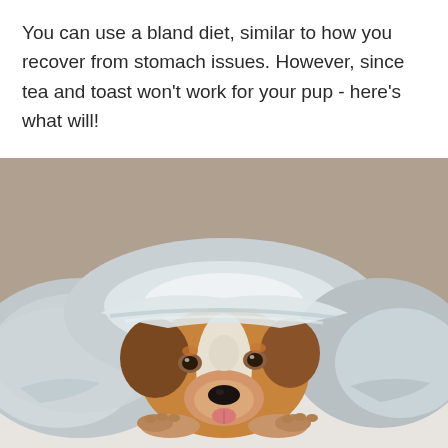You can use a bland diet, similar to how you recover from stomach issues. However, since tea and toast won't work for your pup - here's what will!
[Figure (photo): A dog with brown and white markings lying down wrapped in a grey and white striped blanket, with a sad expression, resting its chin on its paws.]